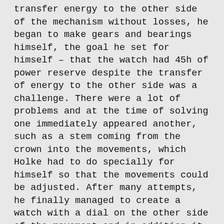transfer energy to the other side of the mechanism without losses, he began to make gears and bearings himself, the goal he set for himself – that the watch had 45h of power reserve despite the transfer of energy to the other side was a challenge. There were a lot of problems and at the time of solving one immediately appeared another, such as a stem coming from the crown into the movements, which Holke had to do specially for himself so that the movements could be adjusted. After many attempts, he finally managed to create a watch with a dial on the other side of the movement and in addition it has 50h of power reserve. The effect of Holke's work is staggering … in this watch the movement is part of the dial, and the hands are literally part of the movement, in addition the hour can also be read from the case back side (which in other watches is a dial).
The latest model Dijkman Watches is a ladies watch with the same inverted movement. The female model has a